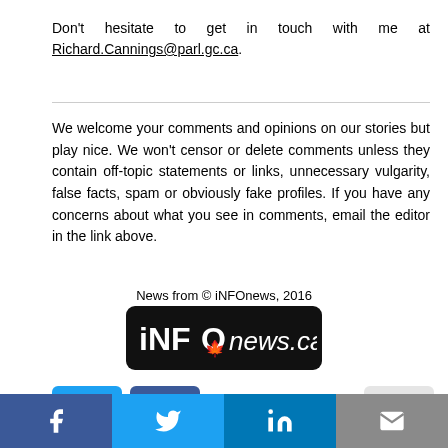Don't hesitate to get in touch with me at Richard.Cannings@parl.gc.ca.
We welcome your comments and opinions on our stories but play nice. We won't censor or delete comments unless they contain off-topic statements or links, unnecessary vulgarity, false facts, spam or obviously fake profiles. If you have any concerns about what you see in comments, email the editor in the link above.
News from © iNFOnews, 2016
[Figure (logo): iNFOnews.ca logo — black rounded rectangle with white bold text 'iNFO' with a red maple leaf and 'news.ca' in italic]
[Figure (infographic): Social share buttons: Twitter (blue) and Facebook (dark blue) icon buttons, plus an upload/share button]
[Figure (infographic): Bottom navigation bar with Facebook, Twitter, LinkedIn, and email share icons]
f  [twitter bird]  in  [envelope]